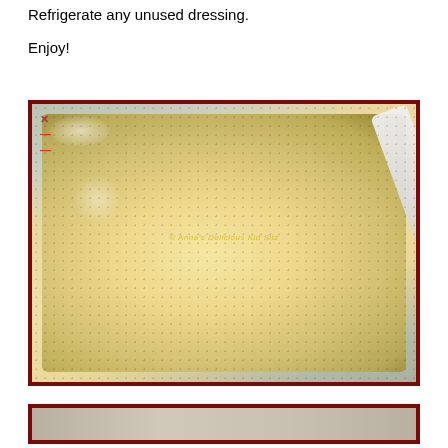Refrigerate any unused dressing.
Enjoy!
[Figure (photo): Photo of a glass measuring cup containing creamy yellow salad dressing with a white spoon/spatula, with red measurement markings visible on the cup and a yellow watermark text in the center of the image.]
[Figure (photo): Partial view of a second photo at the bottom of the page, cropped, showing what appears to be food preparation.]